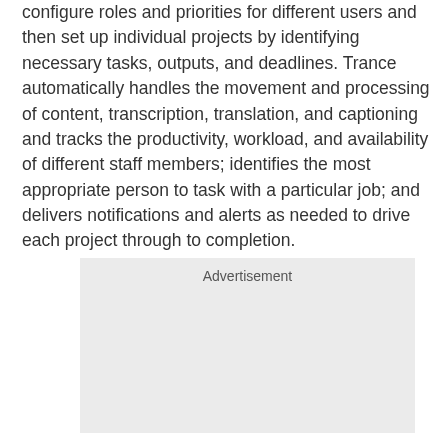configure roles and priorities for different users and then set up individual projects by identifying necessary tasks, outputs, and deadlines. Trance automatically handles the movement and processing of content, transcription, translation, and captioning and tracks the productivity, workload, and availability of different staff members; identifies the most appropriate person to task with a particular job; and delivers notifications and alerts as needed to drive each project through to completion.
[Figure (other): Advertisement placeholder box with light gray background and 'Advertisement' label at the top]